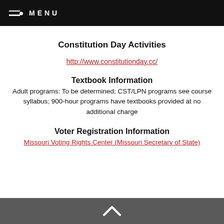MENU
Constitution Day Activities
http://www.constitutionday.cc/
Textbook Information
Adult programs:  To be determined; CST/LPN programs see course syllabus; 900-hour programs have textbooks provided at no additional charge
Voter Registration Information
Missouri Voting Rights Center (Missouri Secretary of State)